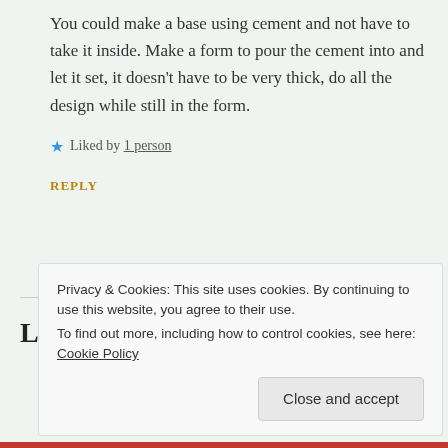You could make a base using cement and not have to take it inside. Make a form to pour the cement into and let it set, it doesn't have to be very thick, do all the design while still in the form.
★ Liked by 1 person
REPLY
Leave a Reply to SJaakie Cancel
Privacy & Cookies: This site uses cookies. By continuing to use this website, you agree to their use. To find out more, including how to control cookies, see here: Cookie Policy
Close and accept